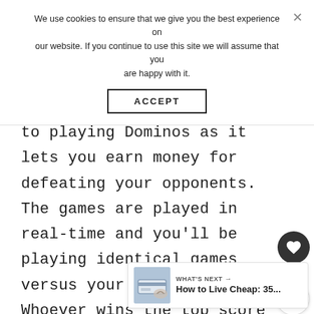We use cookies to ensure that we give you the best experience on our website. If you continue to use this site we will assume that you are happy with it.
ACCEPT
to playing Dominos as it lets you earn money for defeating your opponents. The games are played in real-time and you'll be playing identical games versus your opponent. Whoever wins the top score before the time lapses wins the prize.
[Figure (other): What's Next thumbnail showing a hand holding a credit card, with text 'How to Live Cheap: 35...']